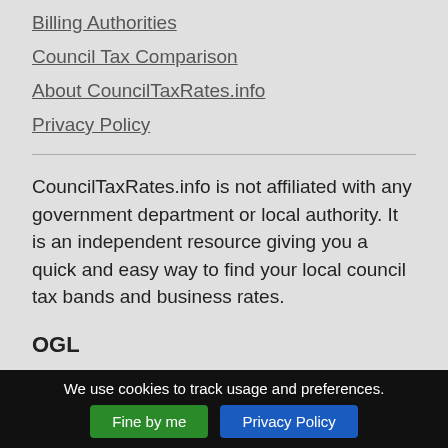Billing Authorities
Council Tax Comparison
About CouncilTaxRates.info
Privacy Policy
CouncilTaxRates.info is not affiliated with any government department or local authority. It is an independent resource giving you a quick and easy way to find your local council tax bands and business rates.
OGL
Contains public sector information licensed under the Open Government Licence v3.0.
A Good Stuff website.
We use cookies to track usage and preferences. Fine by me | Privacy Policy